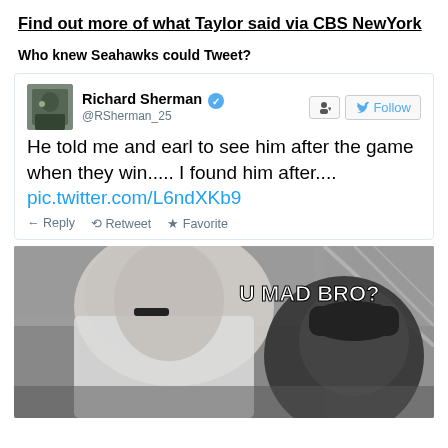Find out more of what Taylor said via CBS NewYork
Who knew Seahawks could Tweet?
[Figure (screenshot): Screenshot of a tweet by Richard Sherman (@RSherman_25) with a verified badge and Follow button. Tweet text: 'He told me and earl to see him after the game when they win..... I found him after.... pic.twitter.com/L6ndXKb9'. Reply, Retweet, Favorite actions shown below.]
[Figure (photo): Photo of two football players after a game. A player in a white jersey faces down while another player in dark gear appears to be talking. Text overlay reads 'U MAD BRO?']